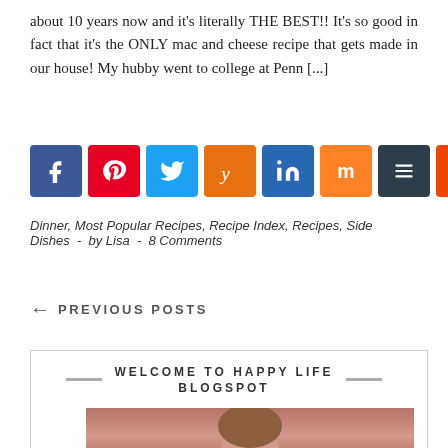about 10 years now and it's literally THE BEST!! It's so good in fact that it's the ONLY mac and cheese recipe that gets made in our house! My hubby went to college at Penn [...]
[Figure (infographic): Row of 8 social sharing buttons: Facebook (blue), Pinterest (red), Twitter (light blue), Yummly (orange), LinkedIn (dark blue), Mix (orange), Buffer (dark slate), Reddit (orange-red)]
Dinner, Most Popular Recipes, Recipe Index, Recipes, Side Dishes  -  by Lisa  -  8 Comments
← PREVIOUS POSTS
WELCOME TO HAPPY LIFE BLOGSPOT
[Figure (photo): Partial photo of a person with brown hair against a reddish-brown background]